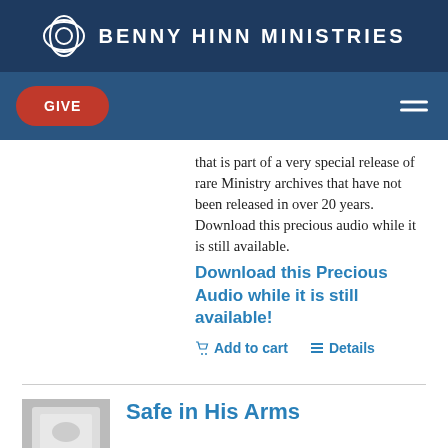BENNY HINN MINISTRIES
GIVE
that is part of a very special release of rare Ministry archives that have not been released in over 20 years. Download this precious audio while it is still available.
Download this Precious Audio while it is still available!
Add to cart   Details
Safe in His Arms